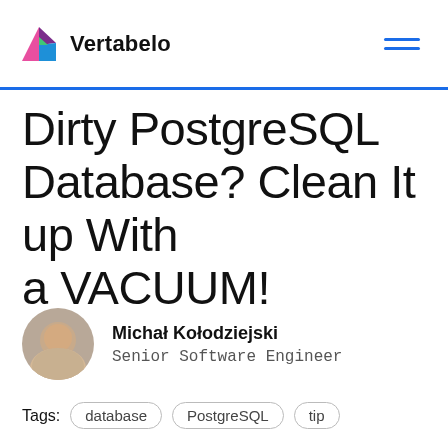Vertabelo
Dirty PostgreSQL Database? Clean It up With a VACUUM!
Michał Kołodziejski
Senior Software Engineer
Tags: database PostgreSQL tip